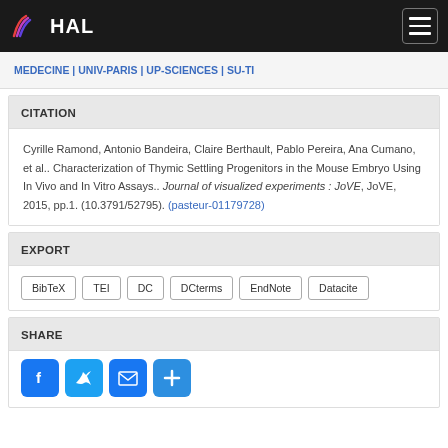HAL
MEDECINE | UNIV-PARIS | UP-SCIENCES | SU-TI
CITATION
Cyrille Ramond, Antonio Bandeira, Claire Berthault, Pablo Pereira, Ana Cumano, et al.. Characterization of Thymic Settling Progenitors in the Mouse Embryo Using In Vivo and In Vitro Assays.. Journal of visualized experiments : JoVE, JoVE, 2015, pp.1. (10.3791/52795). (pasteur-01179728)
EXPORT
BibTeX
TEI
DC
DCterms
EndNote
Datacite
SHARE
[Figure (other): Social share icons: Facebook, Twitter, Email, Plus]